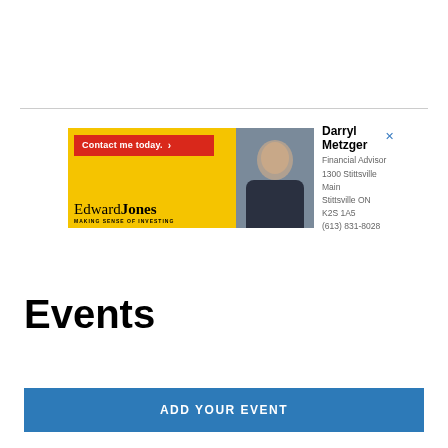[Figure (advertisement): Edward Jones financial advisor advertisement. Yellow banner with red 'Contact me today.' button, Edward Jones logo with 'MAKING SENSE OF INVESTING' tagline, photo of Darryl Metzger, and contact info: Financial Advisor, 1300 Stittsville Main, Stittsville ON, K2S 1A5, (613) 831-8028.]
Events
ADD YOUR EVENT